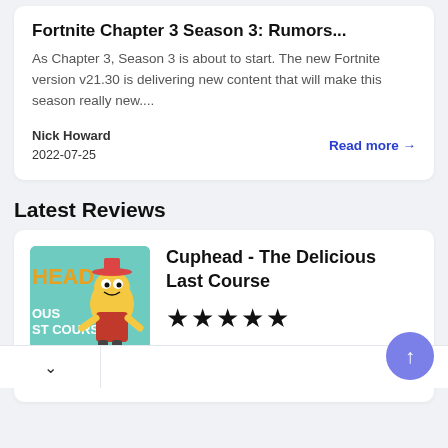Fortnite Chapter 3 Season 3: Rumors...
As Chapter 3, Season 3 is about to start. The new Fortnite version v21.30 is delivering new content that will make this season really new....
Nick Howard
2022-07-25
Read more →
Latest Reviews
[Figure (illustration): Cuphead - The Delicious Last Course game cover art showing cartoon character on mint green background]
Cuphead - The Delicious Last Course
★★★★★